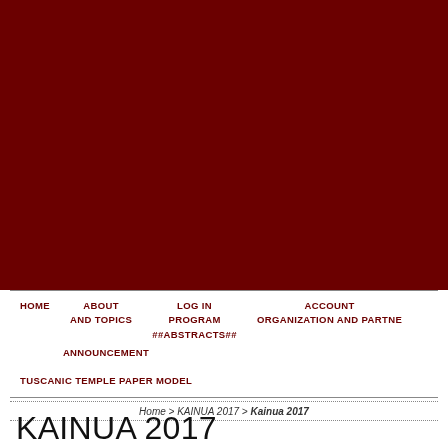[Figure (other): Dark maroon/dark red banner image filling the top portion of the page]
HOME   ABOUT AND TOPICS   LOG IN PROGRAM ##ABSTRACTS##   ACCOUNT ORGANIZATION AND PARTNERS   ANNOUNCEMENTS TUSCANIC TEMPLE PAPER MODEL
Home > KAINUA 2017 > Kainua 2017
KAINUA 2017